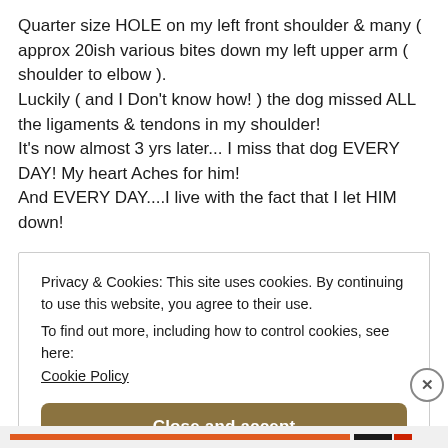Quarter size HOLE on my left front shoulder & many ( approx 20ish various bites down my left upper arm ( shoulder to elbow ).
Luckily ( and I Don't know how! ) the dog missed ALL the ligaments & tendons in my shoulder!
It's now almost 3 yrs later... I miss that dog EVERY DAY! My heart Aches for him!
And EVERY DAY....I live with the fact that I let HIM down!
Privacy & Cookies: This site uses cookies. By continuing to use this website, you agree to their use.
To find out more, including how to control cookies, see here: Cookie Policy
Close and accept